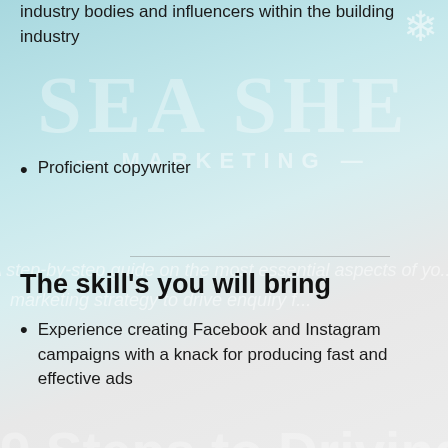industry bodies and influencers within the building industry
Proficient copywriter
The skill's you will bring
Experience creating Facebook and Instagram campaigns with a knack for producing fast and effective ads
A solid understanding of Facebook Business Manager, including Facebook Audiences and insight tools